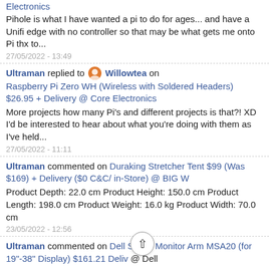Electronics
Pihole is what I have wanted a pi to do for ages... and have a Unifi edge with no controller so that may be what gets me onto Pi thx to...
27/05/2022 - 13:49
Ultraman replied to Willowtea on Raspberry Pi Zero WH (Wireless with Soldered Headers) $26.95 + Delivery @ Core Electronics
More projects how many Pi's and different projects is that?! XD I'd be interested to hear about what you're doing with them as I've held...
27/05/2022 - 11:11
Ultraman commented on Duraking Stretcher Tent $99 (Was $169) + Delivery ($0 C&C/ in-Store) @ BIG W
Product Depth: 22.0 cm Product Height: 150.0 cm Product Length: 198.0 cm Product Weight: 16.0 kg Product Width: 70.0 cm
23/05/2022 - 12:56
Ultraman commented on Dell Single Monitor Arm MSA20 (for 19"-38" Display) $161.21 Delivery @ Dell
Can it be used on other brand monitors? like Samsung or